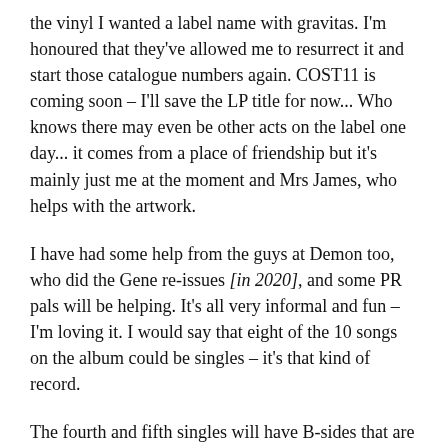the vinyl I wanted a label name with gravitas. I'm honoured that they've allowed me to resurrect it and start those catalogue numbers again. COST11 is coming soon – I'll save the LP title for now... Who knows there may even be other acts on the label one day... it comes from a place of friendship but it's mainly just me at the moment and Mrs James, who helps with the artwork.
I have had some help from the guys at Demon too, who did the Gene re-issues [in 2020], and some PR pals will be helping. It's all very informal and fun – I'm loving it. I would say that eight of the 10 songs on the album could be singles – it's that kind of record.
The fourth and fifth singles will have B-sides that are not on the LP. We consider those to be perhaps the best chance of piquing the interest of people who don't know